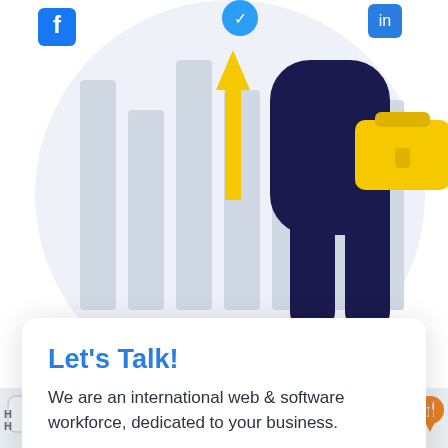[Figure (illustration): Business person in dark suit with yellow briefcase walking, with upward yellow arrow and bar chart in background circle illustration. Blue social/tech icons visible at top.]
[Figure (screenshot): Map background with tab UI element, gas station label, and orange restaurant map pin on the right side.]
Let's Talk!
We are an international web & software workforce, dedicated to your business.
Name